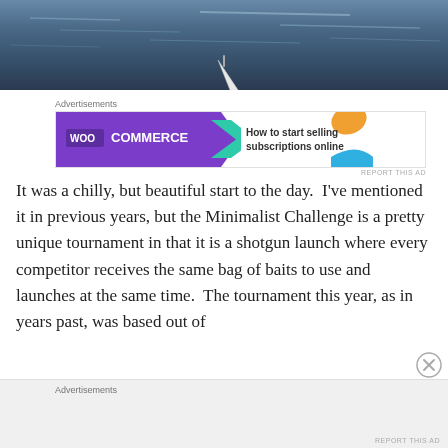[Figure (photo): Aerial or close-up view of a kayak paddle/bow on dark water with light reflections, taken at dawn or dusk.]
Advertisements
[Figure (illustration): WooCommerce advertisement banner: purple background on left with WooCommerce logo and teal arrow, white right side with text 'How to start selling subscriptions online', orange and blue decorative shapes.]
REPORT THIS AD
It was a chilly, but beautiful start to the day.  I've mentioned it in previous years, but the Minimalist Challenge is a pretty unique tournament in that it is a shotgun launch where every competitor receives the same bag of baits to use and launches at the same time.  The tournament this year, as in years past, was based out of
Advertisements
REPORT THIS AD